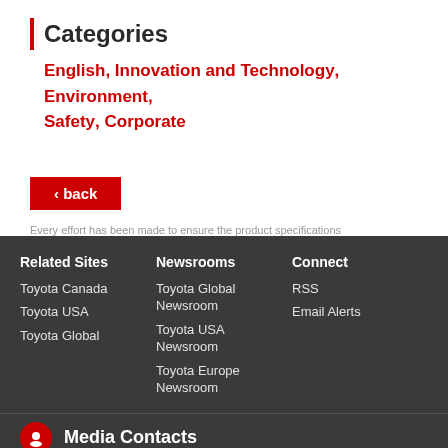Categories
English, Innovation and Technology, Environment, Safety, Corporate
‹ back
Every effort has been made to ensure the product specifications
Related Sites
Toyota Canada
Toyota USA
Toyota Global
Newsrooms
Toyota Global Newsroom
Toyota USA Newsroom
Toyota Europe Newsroom
Connect
RSS
Email Alerts
Media Contacts